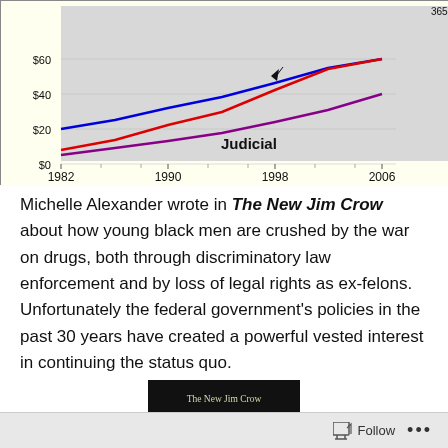[Figure (line-chart): Federal Spending on Criminal Justice]
Michelle Alexander wrote in The New Jim Crow about how young black men are crushed by the war on drugs, both through discriminatory law enforcement and by loss of legal rights as ex-felons.  Unfortunately the federal government's policies in the past 30 years have created a powerful vested interest in continuing the status quo.
[Figure (photo): Book cover of The New Jim Crow by Michelle Alexander, dark background with prison bars and hands]
Follow